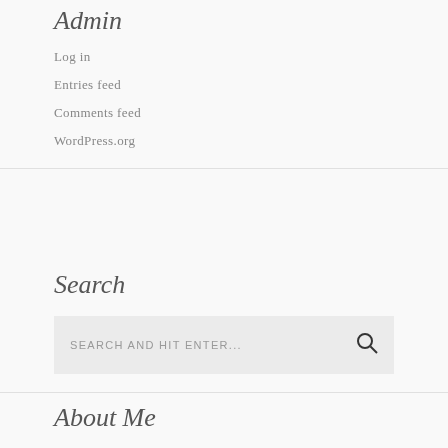Admin
Log in
Entries feed
Comments feed
WordPress.org
Search
SEARCH AND HIT ENTER...
About Me